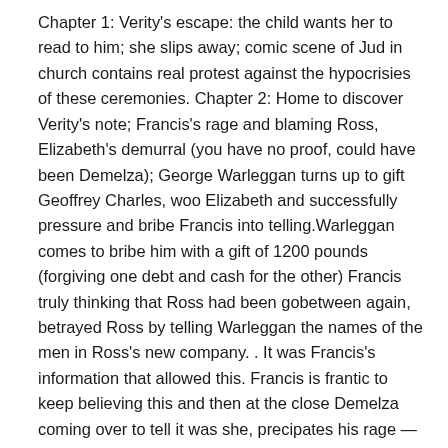Chapter 1: Verity's escape: the child wants her to read to him; she slips away; comic scene of Jud in church contains real protest against the hypocrisies of these ceremonies. Chapter 2: Home to discover Verity's note; Francis's rage and blaming Ross, Elizabeth's demurral (you have no proof, could have been Demelza); George Warleggan turns up to gift Geoffrey Charles, woo Elizabeth and successfully pressure and bribe Francis into telling.Warleggan comes to bribe him with a gift of 1200 pounds (forgiving one debt and cash for the other) Francis truly thinking that Ross had been gobetween again, betrayed Ross by telling Warleggan the names of the men in Ross's new company. . It was Francis's information that allowed this. Francis is frantic to keep believing this and then at the close Demelza coming over to tell it was she, precipates his rage — against himself too